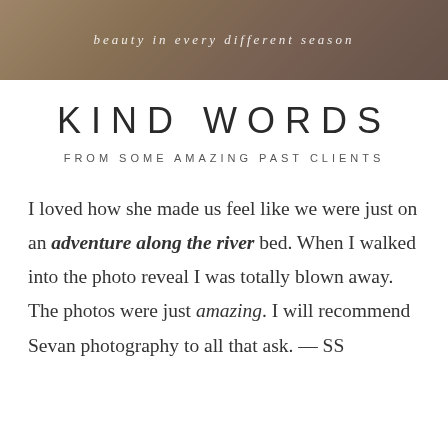[Figure (photo): Photo banner of a person in warm brown tones with italic text overlay reading 'beauty in every different season']
KIND WORDS
FROM SOME AMAZING PAST CLIENTS
I loved how she made us feel like we were just on an adventure along the river bed. When I walked into the photo reveal I was totally blown away. The photos were just amazing. I will recommend Sevan photography to all that ask. — SS